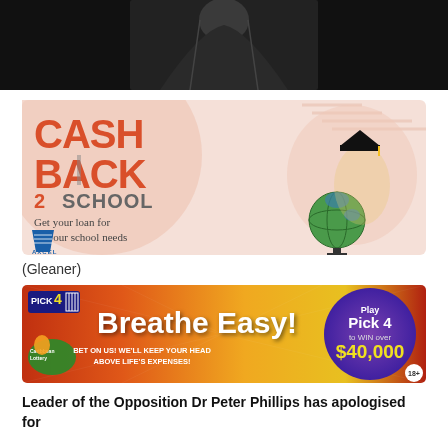[Figure (photo): Dark photo of a person in graduation robes at top of page]
[Figure (illustration): Axcel Finance Cash Back 2 School advertisement banner. Red text reads CASH BACK 2 SCHOOL, tagline Get your loan for all your school needs, features a child in graduation cap holding a globe, Axcel Finance logo bottom left]
(Gleaner)
[Figure (illustration): Caribbean Lottery Pick 4 advertisement. Text reads Breathe Easy! BET ON US! WE'LL KEEP YOUR HEAD ABOVE LIFE'S EXPENSES! Play Pick 4 to WIN over $40,000]
Leader of the Opposition Dr Peter Phillips has apologised for